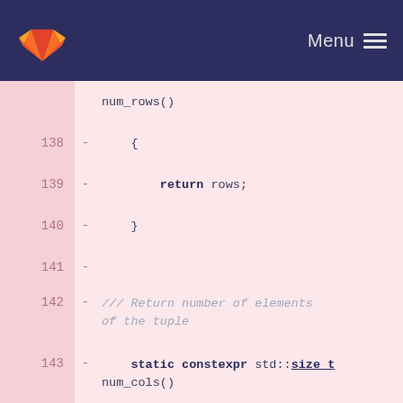GitLab — Menu
[Figure (screenshot): GitLab code diff view showing C++ source code lines 138-153 with line numbers, diff markers (-), and syntax-highlighted code on a pink background. Lines show num_rows(), num_cols(), size() static constexpr methods and a comment, ending with private:]
138  -      {
139  -          return rows;
140  -      }
141  -
142  -      /// Return number of elements of the tuple
143  -      static constexpr std::size_t num_cols()
144  -      {
145  -          return cols;
146  -      }
147  -
148  -      static constexpr std::size_t size()
149  -      {
150  -          return rows;
151  -      }
152  -
153  -   private: